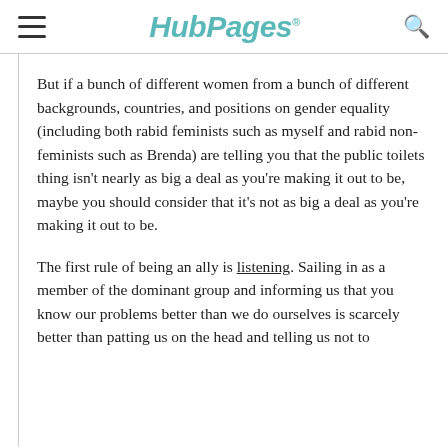HubPages
But if a bunch of different women from a bunch of different backgrounds, countries, and positions on gender equality (including both rabid feminists such as myself and rabid non-feminists such as Brenda) are telling you that the public toilets thing isn't nearly as big a deal as you're making it out to be, maybe you should consider that it's not as big a deal as you're making it out to be.
The first rule of being an ally is listening. Sailing in as a member of the dominant group and informing us that you know our problems better than we do ourselves is scarcely better than patting us on the head and telling us not to